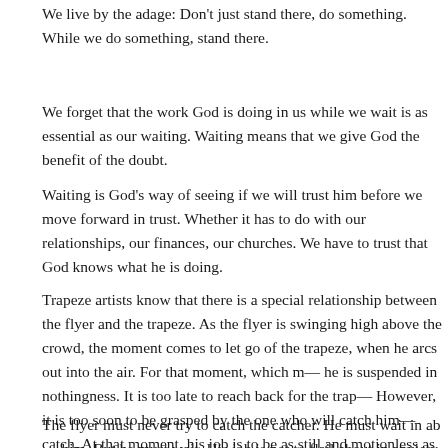We live by the adage: Don't just stand there, do something. While we do something, stand there.
We forget that the work God is doing in us while we wait is as essential as our waiting. Waiting means that we give God the benefit of the doubt.
Waiting is God's way of seeing if we will trust him before we move forward in trust. Whether it has to do with our relationships, our finances, our churches. We have to trust that God knows what he is doing.
Trapeze artists know that there is a special relationship between the flyer and the trapeze. As the flyer is swinging high above the crowd, the moment comes to let go of the trapeze, when he arcs out into the air. For that moment, which may be brief or prolonged, he is suspended in nothingness. It is too late to reach back for the trapeze he has just released. However, it is too soon to be grasped by the one who will catch him — the catcher of the catch. At that moment, his job is to be as still and motionless as possible.
The flyer must never try to catch the catcher. He must wait in absolute trust that him. But he must wait. His job is not to flail about in anxiety...